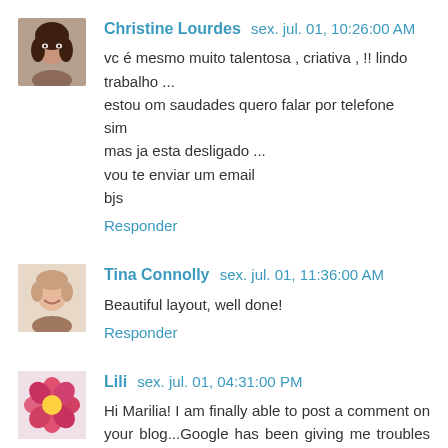[Figure (photo): Avatar photo of Christine Lourdes - woman with dark hair]
Christine Lourdes sex. jul. 01, 10:26:00 AM
vc é mesmo muito talentosa , criativa , !! lindo trabalho ...
estou om saudades quero falar por telefone
sim
mas ja esta desligado ...
vou te enviar um email
bjs
Responder
[Figure (photo): Avatar photo of Tina Connolly - woman smiling]
Tina Connolly sex. jul. 01, 11:36:00 AM
Beautiful layout, well done!
Responder
[Figure (photo): Avatar photo of Lili - flower image]
Lili sex. jul. 01, 04:31:00 PM
Hi Marilia! I am finally able to post a comment on your blog...Google has been giving me troubles lately!. Anyways, I love your creation, alwasys inspiring and unique! Hugs